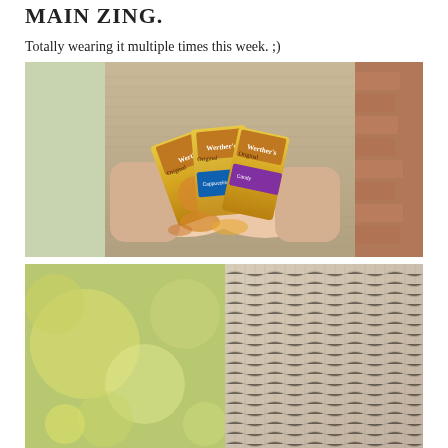MAIN ZING.
Totally wearing it multiple times this week. ;)
[Figure (photo): Person wearing a beige/tan knit sweater holding several Werther's Original candy bags in various flavors (classic, caramel cappuccino, caramel vanilla). Outdoor setting with brick wall background.]
[Figure (photo): Close-up of the beige knit sweater texture, with a blurred green bokeh background on the left side.]